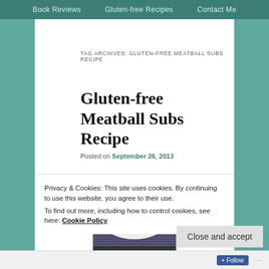Book Reviews   Gluten-free Recipes   Contact Me
TAG ARCHIVES: GLUTEN-FREE MEATBALL SUBS RECIPE
Gluten-free Meatball Subs Recipe
Posted on September 26, 2013
[Figure (photo): A gluten-free meatball sub on a white plate with striped background]
Privacy & Cookies: This site uses cookies. By continuing to use this website, you agree to their use.
To find out more, including how to control cookies, see here: Cookie Policy
Close and accept